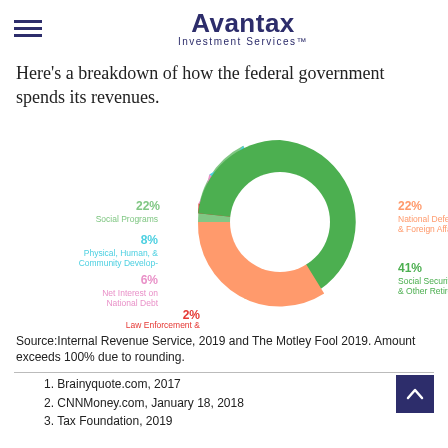Avantax Investment Services™
Here's a breakdown of how the federal government spends its revenues.
[Figure (donut-chart): Federal Government Revenue Spending]
Source:Internal Revenue Service, 2019 and The Motley Fool 2019. Amount exceeds 100% due to rounding.
Brainyquote.com, 2017
CNNMoney.com, January 18, 2018
Tax Foundation, 2019